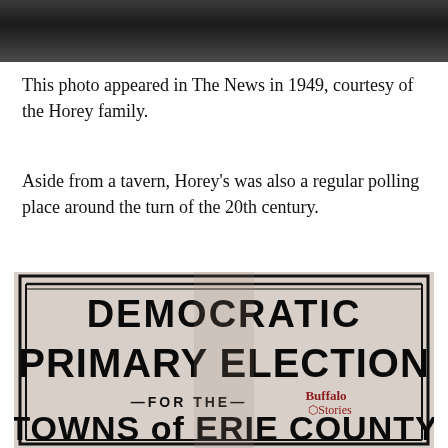[Figure (photo): Black and white photograph cropped at top, partially visible]
This photo appeared in The News in 1949, courtesy of the Horey family.
Aside from a tavern, Horey's was also a regular polling place around the turn of the 20th century.
[Figure (photo): Scanned newspaper clipping showing text: DEMOCRATIC PRIMARY ELECTION FOR THE TOWNS of ERIE COUNTY, with Buffalo Stories logo watermark]